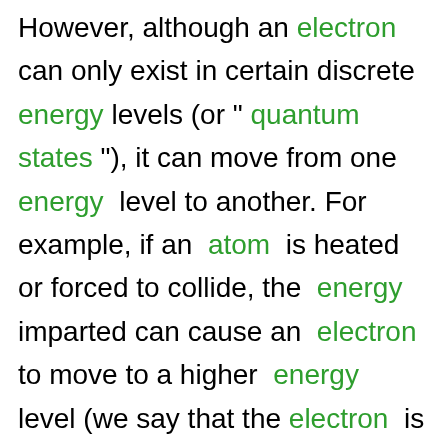However, although an electron can only exist in certain discrete energy levels (or " quantum states "), it can move from one energy level to another. For example, if an atom is heated or forced to collide, the energy imparted can cause an electron to move to a higher energy level (we say that the electron is "excited"). Bohr noted that it did not gradually pass through a continuum of energy levels in between,